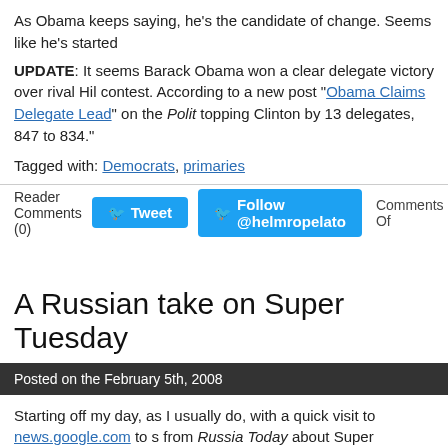As Obama keeps saying, he's the candidate of change. Seems like he's started
UPDATE: It seems Barack Obama won a clear delegate victory over rival Hil contest. According to a new post “Obama Claims Delegate Lead” on the Polit topping Clinton by 13 delegates, 847 to 834.”
Tagged with: Democrats, primaries
Reader Comments (0)   Tweet   Follow @helmropelato   Comments Of
A Russian take on Super Tuesday
Posted on the February 5th, 2008
Starting off my day, as I usually do, with a quick visit to news.google.com to s from Russia Today about Super Tuesday. The video (below) recaps what’s hap includes short commentary from some U.S. political reporters, some campaig the election.
Russia Today, if you don’t know about it, is a Russian news channel in Englis by a team of 700 — Russian and foreign journalists and support staff — on wh according to the website. The channel has been broadcasting since 2005, it rep